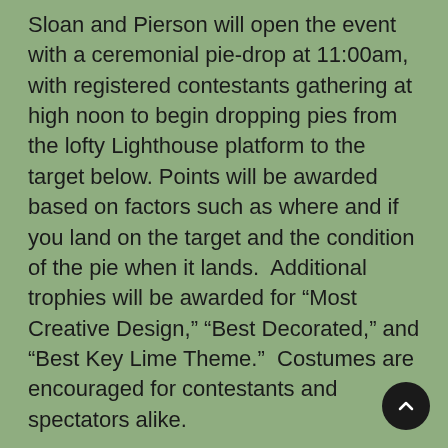Sloan and Pierson will open the event with a ceremonial pie-drop at 11:00am, with registered contestants gathering at high noon to begin dropping pies from the lofty Lighthouse platform to the target below. Points will be awarded based on factors such as where and if you land on the target and the condition of the pie when it lands.  Additional trophies will be awarded for “Most Creative Design,” “Best Decorated,” and “Best Key Lime Theme.”  Costumes are encouraged for contestants and spectators alike.
Admission to the Lighthouse grounds will be free for competitors and spectators. On-site vendors and attractions include face painters and a giant water-slide, a food booth and cash bar; natural soaps and candles from Creative Connections, Conch Republic Rum Cake Company goodies, Blue Sky Jewelry designs